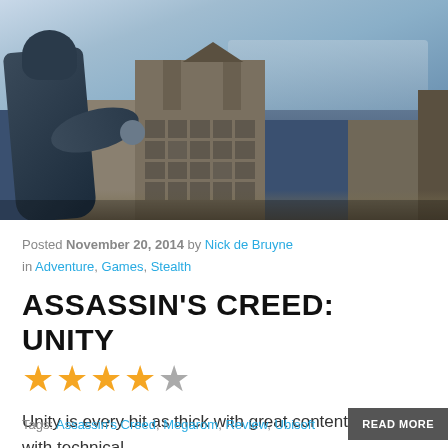[Figure (photo): Screenshot from Assassin's Creed Unity showing a cloaked figure on a rooftop overlooking a detailed cityscape of Paris with gothic buildings, crowds, and a hazy atmospheric sky.]
Posted November 20, 2014 by Nick de Bruyne in Adventure, Games, Stealth
ASSASSIN'S CREED: UNITY
★★★★☆ (4 out of 5 stars)
Unity is every bit as thick with great content as it is with technical...
Tags: Assassin's Creed, Megarom, Review, Ubisoft